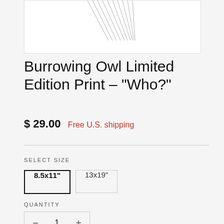[Figure (photo): Partial image of a burrowing owl art print showing feather/quill details at the top of the product image]
Burrowing Owl Limited Edition Print - "Who?"
$ 29.00  Free U.S. shipping
SELECT SIZE
8.5x11"  13x19"
QUANTITY
- 1 +